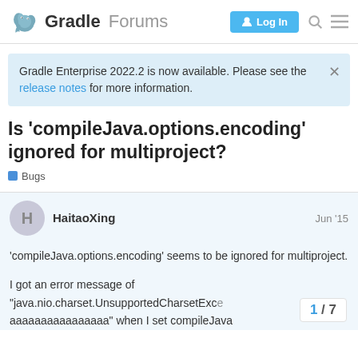Gradle Forums
Gradle Enterprise 2022.2 is now available. Please see the release notes for more information.
Is 'compileJava.options.encoding' ignored for multiproject?
Bugs
HaitaoXing  Jun '15
'compileJava.options.encoding' seems to be ignored for multiproject.

I got an error message of "java.nio.charset.UnsupportedCharsetExce aaaaaaaaaaaaaaaa" when I set compileJava
1 / 7